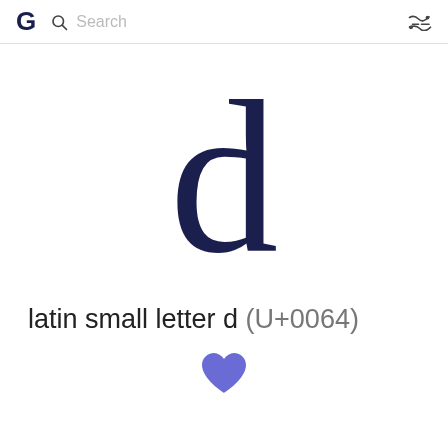G  Search
[Figure (illustration): Large display of the letter 'd' in dark navy serif font]
latin small letter d (U+0064)
[Figure (illustration): Heart/favorite icon in purple/blue color at the bottom center]